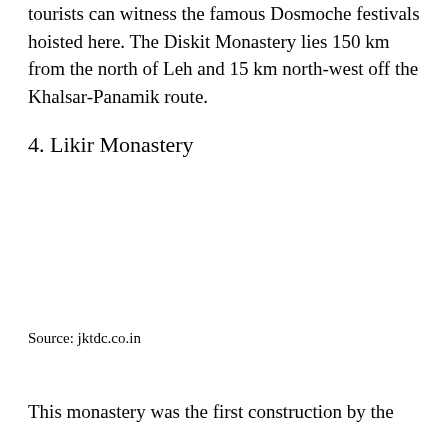tourists can witness the famous Dosmoche festivals hoisted here. The Diskit Monastery lies 150 km from the north of Leh and 15 km north-west off the Khalsar-Panamik route.
4. Likir Monastery
Source: jktdc.co.in
This monastery was the first construction by the